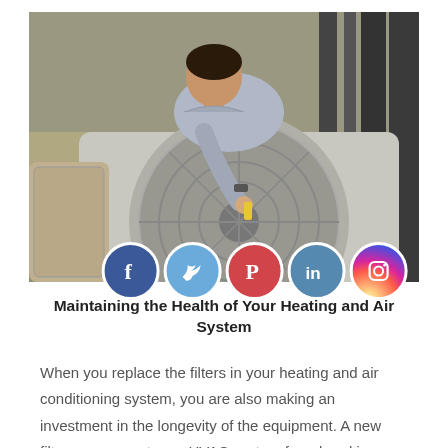[Figure (photo): A technician bending over an outdoor HVAC/air conditioning unit, working on it. Social media icons (Facebook, Twitter, Pinterest, LinkedIn, Instagram) overlaid at the bottom of the image.]
Maintaining the Health of Your Heating and Air System
When you replace the filters in your heating and air conditioning system, you are also making an investment in the longevity of the equipment. A new filter can prevent your HVAC system from breaking down, extend its life, and keep your indoor air clean. You should change